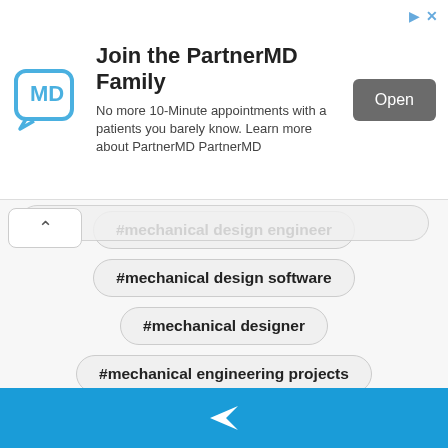[Figure (screenshot): Ad banner for PartnerMD with logo, text, and Open button]
Join the PartnerMD Family
No more 10-Minute appointments with a patients you barely know. Learn more about PartnerMD PartnerMD
#mechanical design engineer
#mechanical design software
#mechanical designer
#mechanical engineering projects
#mechanical system design
#mep design
#motor design
#osp engineer
#pcb design engineer